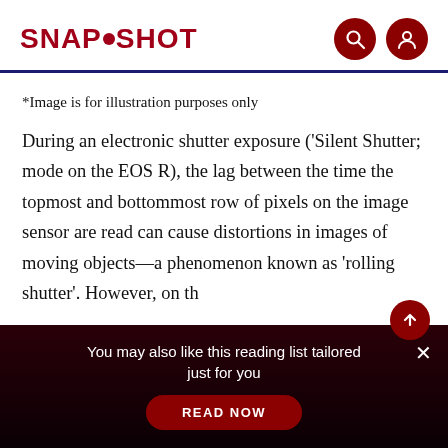SNAPSHOT
*Image is for illustration purposes only
During an electronic shutter exposure ('Silent Shutter; mode on the EOS R), the lag between the time the topmost and bottommost row of pixels on the image sensor are read can cause distortions in images of moving objects—a phenomenon known as 'rolling shutter'. However, on th
You may also like this reading list tailored just for you
READ NOW